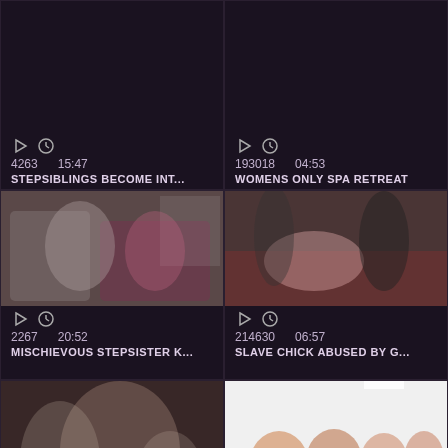[Figure (screenshot): Video thumbnail grid - top left card: play icon, clock icon, views 4263, duration 15:47, title STEPSIBLINGS BECOME INT...]
[Figure (screenshot): Video thumbnail grid - top right card: play icon, clock icon, views 193018, duration 04:53, title WOMENS ONLY SPA RETREAT]
[Figure (screenshot): Video thumbnail - middle left: couple on couch, views 2267, duration 20:52, title MISCHIEVOUS STEPSISTER K...]
[Figure (screenshot): Video thumbnail - middle right: group scene, views 214630, duration 06:57, title SLAVE CHICK ABUSED BY G...]
[Figure (screenshot): Video thumbnail - bottom left: adult content scene]
[Figure (screenshot): Video thumbnail - bottom right: group of women smiling, with scroll-to-top button overlay]